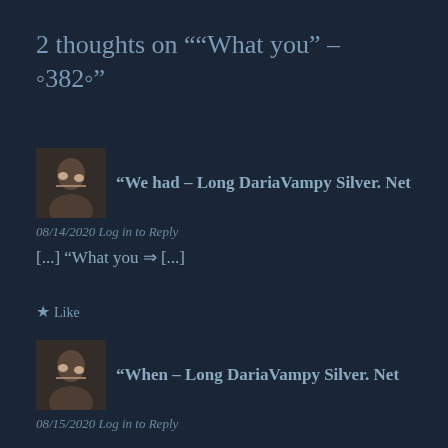2 thoughts on "“What you” – ο382ο"
“We had – Long DariaVampy Silver. Net
08/14/2020 Log in to Reply
[...] “What you ⇒ [...]
★ Like
“When – Long DariaVampy Silver. Net
08/15/2020 Log in to Reply